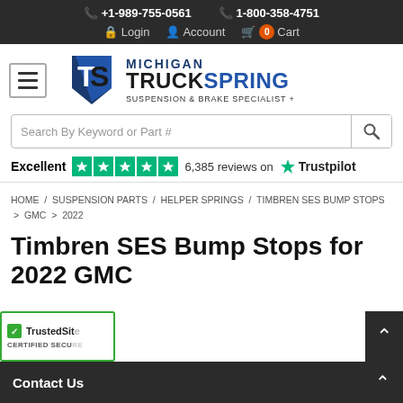+1-989-755-0561  1-800-358-4751  Login  Account  Cart
[Figure (logo): Michigan Truck Spring - Suspension & Brake Specialist + logo with TS initials in blue and black]
Search By Keyword or Part #
Excellent  6,385 reviews on  Trustpilot
HOME / SUSPENSION PARTS / HELPER SPRINGS / TIMBREN SES BUMP STOPS > GMC > 2022
Timbren SES Bump Stops for 2022 GMC
Contact Us